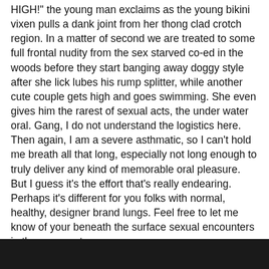HIGH!" the young man exclaims as the young bikini vixen pulls a dank joint from her thong clad crotch region. In a matter of second we are treated to some full frontal nudity from the sex starved co-ed in the woods before they start banging away doggy style after she lick lubes his rump splitter, while another cute couple gets high and goes swimming. She even gives him the rarest of sexual acts, the under water oral. Gang, I do not understand the logistics here. Then again, I am a severe asthmatic, so I can't hold me breath all that long, especially not long enough to truly deliver any kind of memorable oral pleasure. But I guess it's the effort that's really endearing. Perhaps it's different for you folks with normal, healthy, designer brand lungs. Feel free to let me know of your beneath the surface sexual encounters in the comments.
[Figure (photo): Dark/black image strip at the bottom of the page, appears to be a video thumbnail or screenshot]